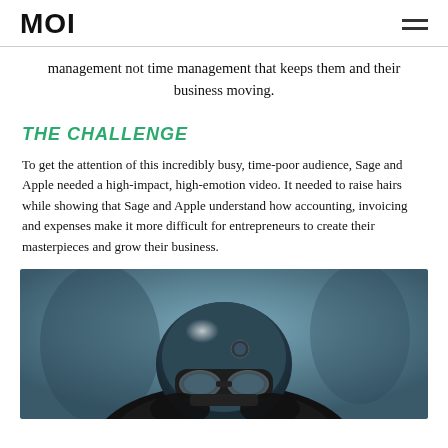MOI
management not time management that keeps them and their business moving.
THE CHALLENGE
To get the attention of this incredibly busy, time-poor audience, Sage and Apple needed a high-impact, high-emotion video. It needed to raise hairs while showing that Sage and Apple understand how accounting, invoicing and expenses make it more difficult for entrepreneurs to create their masterpieces and grow their business.
[Figure (photo): Person wearing a vintage motorcycle helmet and goggles, viewed from below against a blurred blue-grey background.]